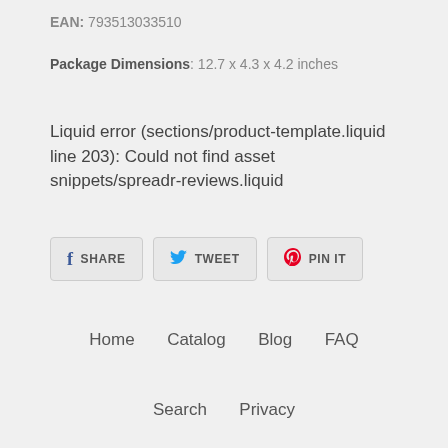EAN: 793513033510
Package Dimensions: 12.7 x 4.3 x 4.2 inches
Liquid error (sections/product-template.liquid line 203): Could not find asset snippets/spreadr-reviews.liquid
SHARE   TWEET   PIN IT
Home   Catalog   Blog   FAQ
Search   Privacy